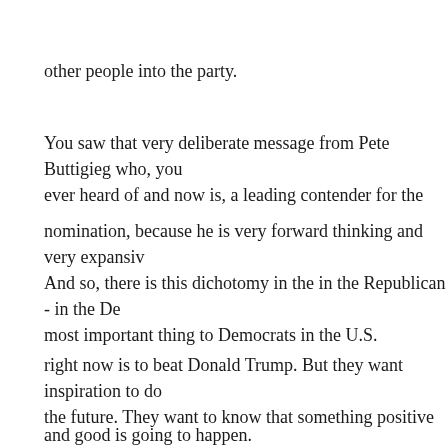other people into the party.
You saw that very deliberate message from Pete Buttigieg who, you ever heard of and now is, a leading contender for the
nomination, because he is very forward thinking and very expansiv
And so, there is this dichotomy in the in the Republican - in the De most important thing to Democrats in the U.S.
right now is to beat Donald Trump. But they want inspiration to do the future. They want to know that something positive
and good is going to happen.